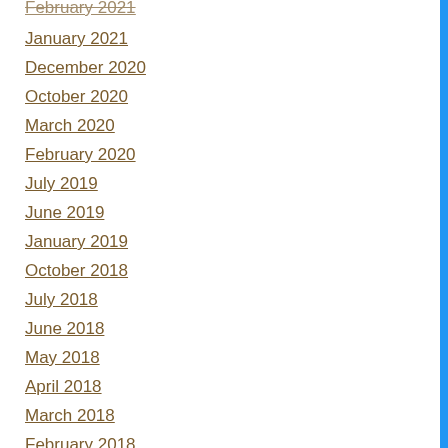February 2021
January 2021
December 2020
October 2020
March 2020
February 2020
July 2019
June 2019
January 2019
October 2018
July 2018
June 2018
May 2018
April 2018
March 2018
February 2018
December 2017
November 2017
October 2017